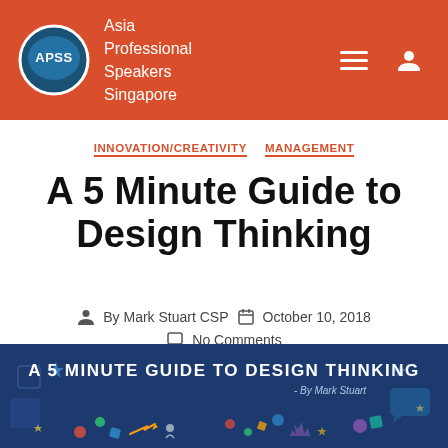Asia Professional Speakers Singapore
INNOVATION/CREATIVITY   MANAGEMENT
A 5 Minute Guide to Design Thinking
By Mark Stuart CSP   October 10, 2018   No Comments
[Figure (infographic): Banner image with dark navy blue background and scattered colorful icons including arrows, stars, diamonds, people figures, and speech bubbles. Text reads 'A 5 MINUTE GUIDE TO DESIGN THINKING - By Mark Stuart' in white bold uppercase letters.]